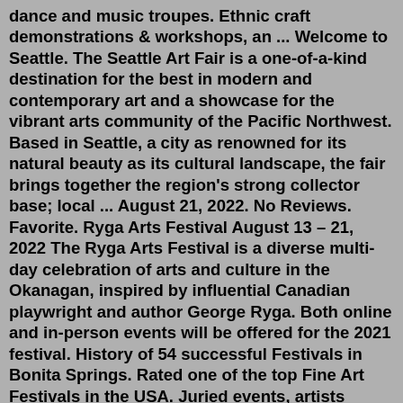dance and music troupes. Ethnic craft demonstrations & workshops, an ... Welcome to Seattle. The Seattle Art Fair is a one-of-a-kind destination for the best in modern and contemporary art and a showcase for the vibrant arts community of the Pacific Northwest. Based in Seattle, a city as renowned for its natural beauty as its cultural landscape, the fair brings together the region's strong collector base; local ... August 21, 2022. No Reviews. Favorite. Ryga Arts Festival August 13 – 21, 2022 The Ryga Arts Festival is a diverse multi-day celebration of arts and culture in the Okanagan, inspired by influential Canadian playwright and author George Ryga. Both online and in-person events will be offered for the 2021 festival. History of 54 successful Festivals in Bonita Springs. Rated one of the top Fine Art Festivals in the USA. Juried events, artists selected by a panel of experts. Quality artworks by 200+ National and International artists. 16 categories of artwork will be shown. Meet, talk with and buy from the artist. Beautiful park setting with amenities. Sun, Aug 14, 12:00 PM + 4...